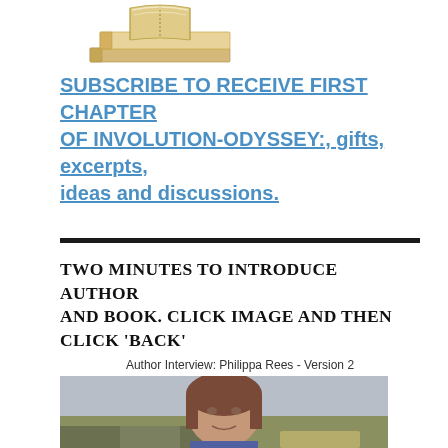[Figure (illustration): Stack of books illustration, tan/beige colored]
SUBSCRIBE TO RECEIVE FIRST CHAPTER OF INVOLUTION-ODYSSEY:, gifts, excerpts, ideas and discussions.
TWO MINUTES TO INTRODUCE AUTHOR AND BOOK. CLICK IMAGE AND THEN CLICK ‘BACK’
Author Interview: Philippa Rees - Version 2
[Figure (photo): Photo of author Philippa Rees, a woman with brown shoulder-length hair, speaking at what appears to be an event]